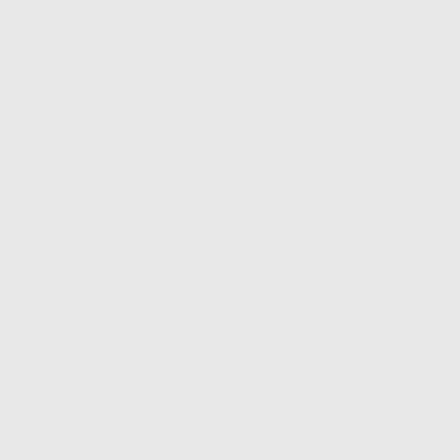[Figure (photo): Small avatar image, top portion visible, appears to be an illustrated or cartoon-style portrait]
Thanks for thos. There are not m the audience a this one at the a full house an seems to strike as we agonise we want while s British heritage Gwen.
★ Liked by 1 perso
[Figure (photo): Profile photo of an older woman with glasses wearing a white patterned top, NITYA47 user avatar]
NITYA47
23/02/2018
I too, found the carr a blight on an other of his rousing spee urge to jump to my
This is coming from approve of Churchi was undoubtably th